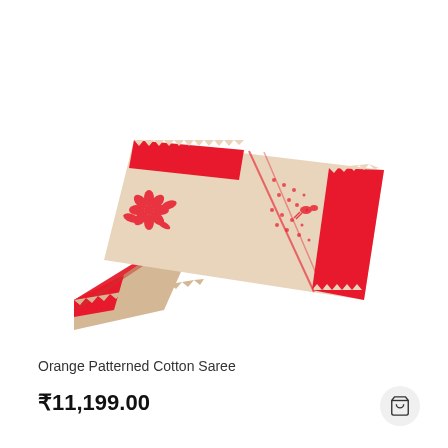[Figure (photo): A folded beige/cream cotton saree with red floral patterns and zigzag border design, displayed diagonally on a white background.]
Orange Patterned Cotton Saree
₹11,199.00